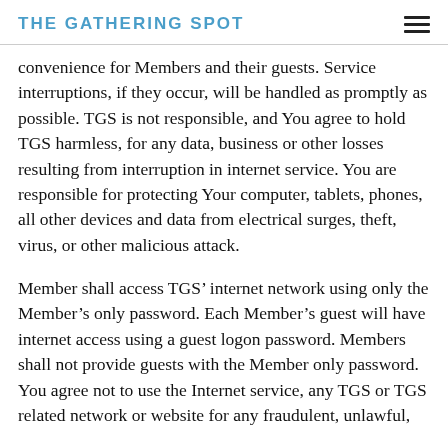THE GATHERING SPOT
convenience for Members and their guests. Service interruptions, if they occur, will be handled as promptly as possible. TGS is not responsible, and You agree to hold TGS harmless, for any data, business or other losses resulting from interruption in internet service. You are responsible for protecting Your computer, tablets, phones, all other devices and data from electrical surges, theft, virus, or other malicious attack.
Member shall access TGS’ internet network using only the Member’s only password. Each Member’s guest will have internet access using a guest logon password. Members shall not provide guests with the Member only password. You agree not to use the Internet service, any TGS or TGS related network or website for any fraudulent, unlawful,